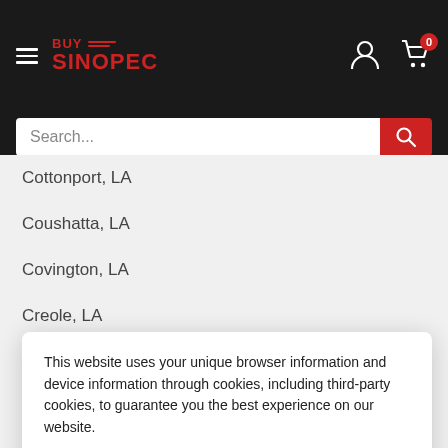BUY SINOPEC - Navigation header with hamburger menu, logo, user icon, and cart icon (0 items)
[Figure (screenshot): Search bar with placeholder text 'Search...' and red search button]
Cottonport, LA
Coushatta, LA
Covington, LA
Creole, LA
Crowley, LA
Crowville, LA
Cullen, LA
This website uses your unique browser information and device information through cookies, including third-party cookies, to guarantee you the best experience on our website.
Accept
Darrow, LA